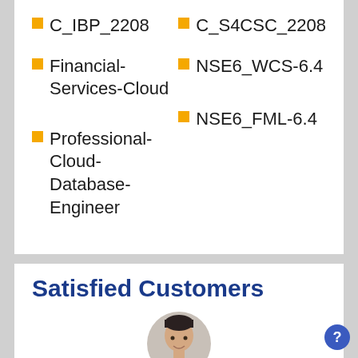C_IBP_2208
C_S4CSC_2208
Financial-Services-Cloud
NSE6_WCS-6.4
NSE6_FML-6.4
Professional-Cloud-Database-Engineer
Satisfied Customers
[Figure (photo): Circular headshot photo of a young man smiling]